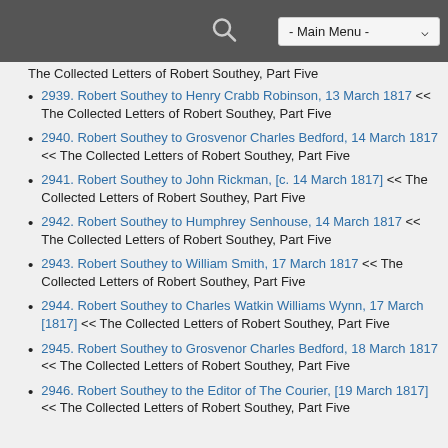- Main Menu -
The Collected Letters of Robert Southey, Part Five
2939. Robert Southey to Henry Crabb Robinson, 13 March 1817 << The Collected Letters of Robert Southey, Part Five
2940. Robert Southey to Grosvenor Charles Bedford, 14 March 1817 << The Collected Letters of Robert Southey, Part Five
2941. Robert Southey to John Rickman, [c. 14 March 1817] << The Collected Letters of Robert Southey, Part Five
2942. Robert Southey to Humphrey Senhouse, 14 March 1817 << The Collected Letters of Robert Southey, Part Five
2943. Robert Southey to William Smith, 17 March 1817 << The Collected Letters of Robert Southey, Part Five
2944. Robert Southey to Charles Watkin Williams Wynn, 17 March [1817] << The Collected Letters of Robert Southey, Part Five
2945. Robert Southey to Grosvenor Charles Bedford, 18 March 1817 << The Collected Letters of Robert Southey, Part Five
2946. Robert Southey to the Editor of The Courier, [19 March 1817] << The Collected Letters of Robert Southey, Part Five